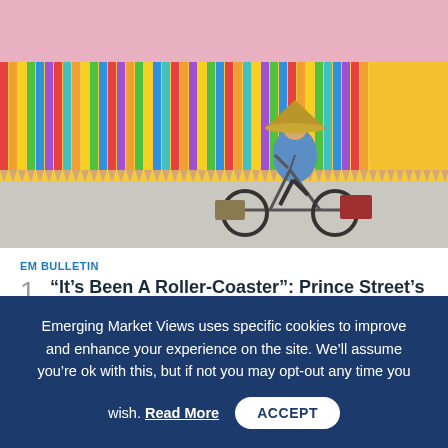[Figure (photo): Person riding a bicycle in front of a colorful vertical pencil fence mural on a street, wearing a Vietnamese conical hat and blue top, with baskets on the bicycle.]
EM BULLETIN
“It’s Been A Roller-Coaster”: Prince Street’s Fuzaylov On Russia, Commodities & The Fed
Emerging Market Views uses specific cookies to improve and enhance your experience on the site. We'll assume you're ok with this, but if not you may opt-out any time you wish. Read More ACCEPT